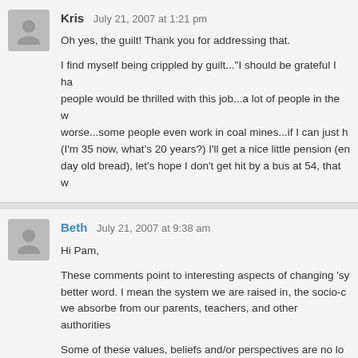Kris   July 21, 2007 at 1:21 pm
Oh yes, the guilt! Thank you for addressing that.
I find myself being crippled by guilt..."I should be grateful I ha... people would be thrilled with this job...a lot of people in the w... worse...some people even work in coal mines...if I can just h... (I'm 35 now, what's 20 years?) I'll get a nice little pension (en... day old bread), let's hope I don't get hit by a bus at 54, that w...
Beth   July 21, 2007 at 9:38 am
Hi Pam,
These comments point to interesting aspects of changing 'sy... better word. I mean the system we are raised in, the socio-c... we absorbe from our parents, teachers, and other authorities...
Some of these values, beliefs and/or perspectives are no lo... century economy yet they are still perpetuated.